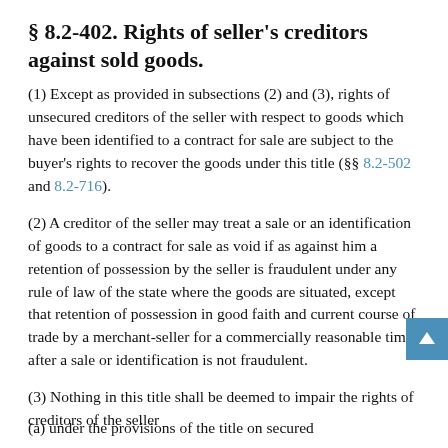§ 8.2-402. Rights of seller's creditors against sold goods.
(1) Except as provided in subsections (2) and (3), rights of unsecured creditors of the seller with respect to goods which have been identified to a contract for sale are subject to the buyer's rights to recover the goods under this title (§§ 8.2-502 and 8.2-716).
(2) A creditor of the seller may treat a sale or an identification of goods to a contract for sale as void if as against him a retention of possession by the seller is fraudulent under any rule of law of the state where the goods are situated, except that retention of possession in good faith and current course of trade by a merchant-seller for a commercially reasonable time after a sale or identification is not fraudulent.
(3) Nothing in this title shall be deemed to impair the rights of creditors of the seller
(a) under the provisions of the title on secured